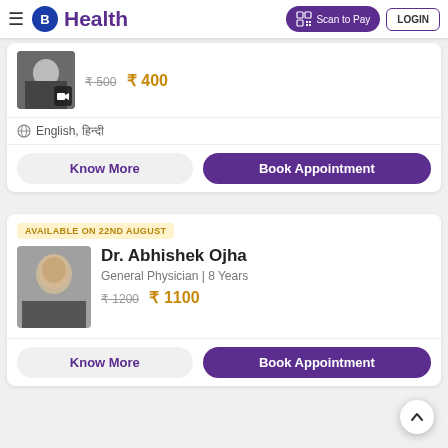B Health | Scan to Pay | LOGIN
₹500 ₹ 400
English, हिन्दी
Know More
Book Appointment
AVAILABLE ON 22ND AUGUST
Dr. Abhishek Ojha
General Physician | 8 Years
₹1200 ₹ 1100
Know More
Book Appointment